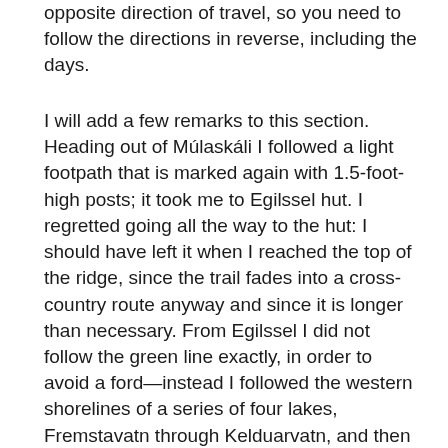opposite direction of travel, so you need to follow the directions in reverse, including the days.
I will add a few remarks to this section. Heading out of Múlaskáli I followed a light footpath that is marked again with 1.5-foot-high posts; it took me to Egilssel hut. I regretted going all the way to the hut: I should have left it when I reached the top of the ridge, since the trail fades into a cross-country route anyway and since it is longer than necessary. From Egilssel I did not follow the green line exactly, in order to avoid a ford—instead I followed the western shorelines of a series of four lakes, Fremstavatn through Kelduarvatn, and then dropped down to the Geldingafellsskali hut. From there, I had three options: (1) head north and find the bridge over the glacier-fed river; (2) cross Eyjabakkajökull, which I was reluctant to do based on my experience the day before; or (3) ford the outlet river of Eyjabakkajökull. I chose to do the latter and it worked: the river is cold and swift but I